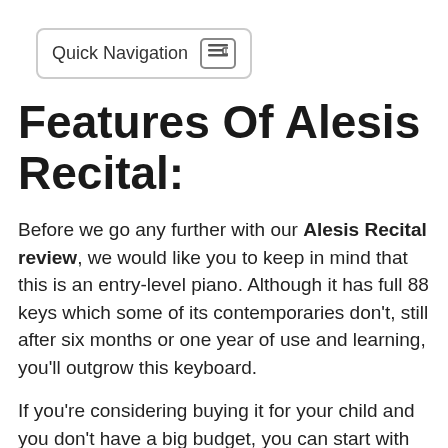Quick Navigation
Features Of Alesis Recital:
Before we go any further with our Alesis Recital review, we would like you to keep in mind that this is an entry-level piano. Although it has full 88 keys which some of its contemporaries don't, still after six months or one year of use and learning, you'll outgrow this keyboard.
If you're considering buying it for your child and you don't have a big budget, you can start with the Alesis Recital. Since